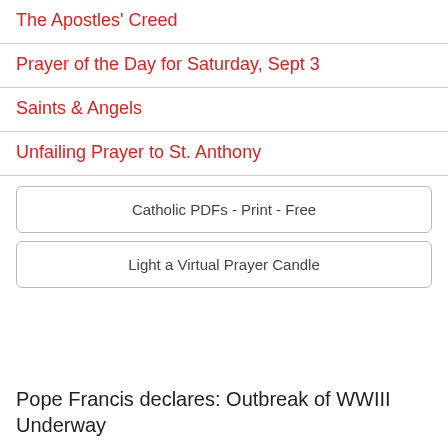The Apostles' Creed
Prayer of the Day for Saturday, Sept 3
Saints & Angels
Unfailing Prayer to St. Anthony
Catholic PDFs - Print - Free
Light a Virtual Prayer Candle
Pope Francis declares: Outbreak of WWIII Underway